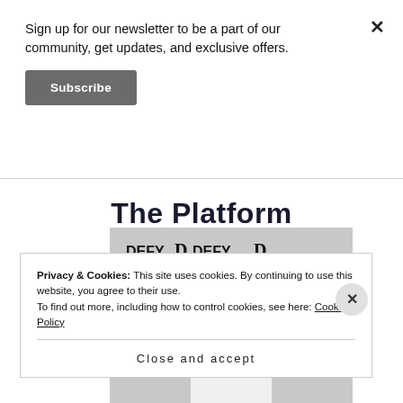Sign up for our newsletter to be a part of our community, get updates, and exclusive offers.
Subscribe
The Platform
[Figure (photo): A person posing in front of a DEFY branded backdrop with repeating DEFY logos and stylized D letters]
Privacy & Cookies: This site uses cookies. By continuing to use this website, you agree to their use.
To find out more, including how to control cookies, see here: Cookie Policy
Close and accept